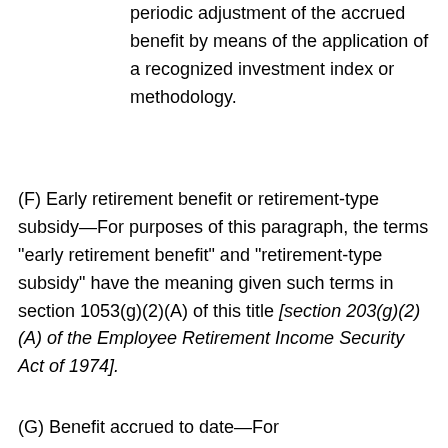periodic adjustment of the accrued benefit by means of the application of a recognized investment index or methodology.
(F) Early retirement benefit or retirement-type subsidy—For purposes of this paragraph, the terms "early retirement benefit" and "retirement-type subsidy" have the meaning given such terms in section 1053(g)(2)(A) of this title [section 203(g)(2)(A) of the Employee Retirement Income Security Act of 1974].
(G) Benefit accrued to date—For